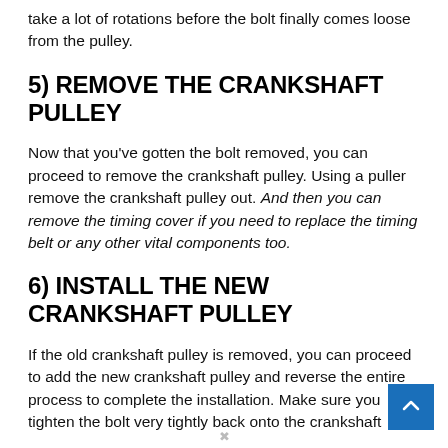take a lot of rotations before the bolt finally comes loose from the pulley.
5) REMOVE THE CRANKSHAFT PULLEY
Now that you've gotten the bolt removed, you can proceed to remove the crankshaft pulley. Using a puller remove the crankshaft pulley out. And then you can remove the timing cover if you need to replace the timing belt or any other vital components too.
6) INSTALL THE NEW CRANKSHAFT PULLEY
If the old crankshaft pulley is removed, you can proceed to add the new crankshaft pulley and reverse the entire process to complete the installation. Make sure you tighten the bolt very tightly back onto the crankshaft